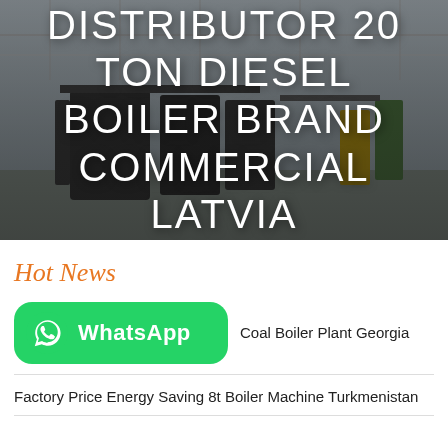[Figure (photo): Industrial boiler plant facility interior with large dark boiler equipment, steel structures, and a dimmed overlay. Bold white uppercase text overlaid on the image reads: DISTRIBUTOR 20 TON DIESEL BOILER BRAND COMMERCIAL LATVIA]
DISTRIBUTOR 20 TON DIESEL BOILER BRAND COMMERCIAL LATVIA
Hot News
WhatsApp   Coal Boiler Plant Georgia
Factory Price Energy Saving 8t Boiler Machine Turkmenistan